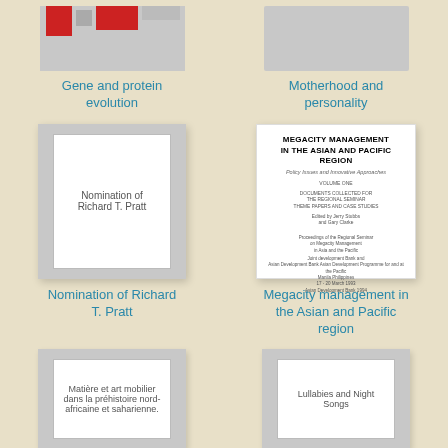[Figure (illustration): Book cover thumbnail for Gene and protein evolution]
Gene and protein evolution
[Figure (illustration): Book cover thumbnail for Motherhood and personality]
Motherhood and personality
[Figure (illustration): Book cover for Nomination of Richard T. Pratt]
Nomination of Richard T. Pratt
[Figure (illustration): Book cover for Megacity management in the Asian and Pacific region]
Megacity management in the Asian and Pacific region
[Figure (illustration): Book cover for Matière et art mobilier dans la préhistoire nord-africaine et saharienne.]
[Figure (illustration): Book cover for Lullabies and Night Songs]